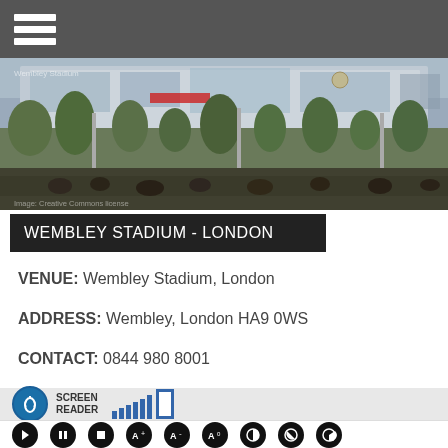[Figure (photo): Header navigation bar with hamburger menu icon (three white horizontal lines) on dark grey background]
[Figure (photo): Exterior photo of Wembley Stadium, London, showing the stadium building, trees, and crowds of people in the foreground]
WEMBLEY STADIUM - LONDON
VENUE: Wembley Stadium, London
ADDRESS: Wembley, London HA9 0WS
CONTACT: 0844 980 8001
[Figure (infographic): Accessibility toolbar with Screen Reader icon (ear symbol in blue circle), signal bars, and a square icon]
[Figure (infographic): Media player controls bar with play, pause, stop, font size increase, font size decrease, font size reset, contrast, and two additional accessibility buttons]